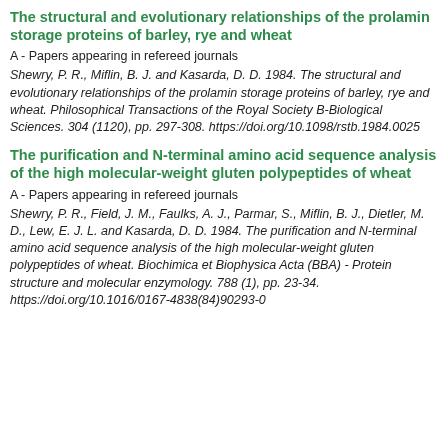The structural and evolutionary relationships of the prolamin storage proteins of barley, rye and wheat
A - Papers appearing in refereed journals
Shewry, P. R., Miflin, B. J. and Kasarda, D. D. 1984. The structural and evolutionary relationships of the prolamin storage proteins of barley, rye and wheat. Philosophical Transactions of the Royal Society B-Biological Sciences. 304 (1120), pp. 297-308. https://doi.org/10.1098/rstb.1984.0025
The purification and N-terminal amino acid sequence analysis of the high molecular-weight gluten polypeptides of wheat
A - Papers appearing in refereed journals
Shewry, P. R., Field, J. M., Faulks, A. J., Parmar, S., Miflin, B. J., Dietler, M. D., Lew, E. J. L. and Kasarda, D. D. 1984. The purification and N-terminal amino acid sequence analysis of the high molecular-weight gluten polypeptides of wheat. Biochimica et Biophysica Acta (BBA) - Protein structure and molecular enzymology. 788 (1), pp. 23-34. https://doi.org/10.1016/0167-4838(84)90293-0